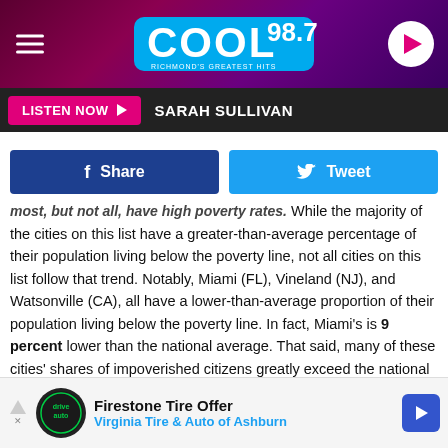[Figure (screenshot): Cool 98.7 radio station header banner with purple/magenta gradient background, hamburger menu icon on left, Cool 98.7 logo in center on blue background, white play button circle on right]
LISTEN NOW ▶   SARAH SULLIVAN
[Figure (screenshot): Social sharing buttons: blue Facebook Share button and light blue Twitter Tweet button]
most, but not all, have high poverty rates. While the majority of the cities on this list have a greater-than-average percentage of their population living below the poverty line, not all cities on this list follow that trend. Notably, Miami (FL), Vineland (NJ), and Watsonville (CA), all have a lower-than-average proportion of their population living below the poverty line. In fact, Miami's is 9 percent lower than the national average. That said, many of these cities' shares of impoverished citizens greatly exceed the national average. San Marcos (TX) has 50 percent more of its population under the poverty line than the national
[Figure (screenshot): Advertisement banner: Firestone Tire Offer - Virginia Tire & Auto of Ashburn, with Drive Auto logo and blue diamond arrow icon]